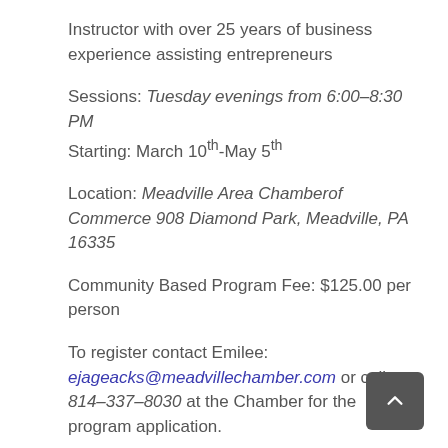Instructor with over 25 years of business experience assisting entrepreneurs
Sessions: Tuesday evenings from 6:00–8:30 PM
Starting: March 10th-May 5th
Location: Meadville Area Chamberof Commerce 908 Diamond Park, Meadville, PA 16335
Community Based Program Fee: $125.00 per person
To register contact Emilee: ejageacks@meadvillechamber.com or call 814–337–8030 at the Chamber for the program application.